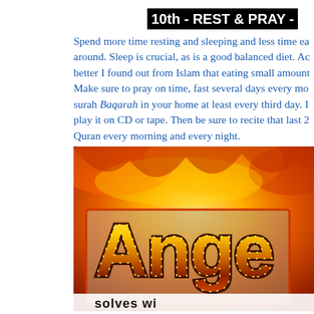10th - REST & PRAY -
Spend more time resting and sleeping and less time eating and running around. Sleep is crucial, as is a good balanced diet. Actually to feel better I found out from Islam that eating small amounts is better. Make sure to pray on time, fast several days every month, recite surah Baqarah in your home at least every third day. If you can't, play it on CD or tape. Then be sure to recite that last 2 ayat of Quran every morning and every night.
[Figure (illustration): A fiery orange and yellow background with the word 'Ange' (Angels) visible in large stylized yellow/gold lettering with dark outlines, and partial text 'solves within' or similar at the bottom in black on white. The image appears to be a book or media cover cropped at the right edge.]